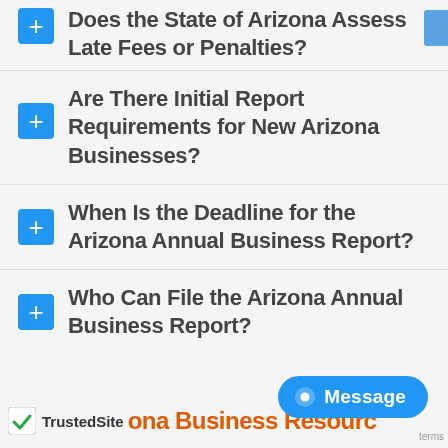Does the State of Arizona Assess Late Fees or Penalties?
Are There Initial Report Requirements for New Arizona Businesses?
When Is the Deadline for the Arizona Annual Business Report?
Who Can File the Arizona Annual Business Report?
TrustedSite | ona Business Resources | Message